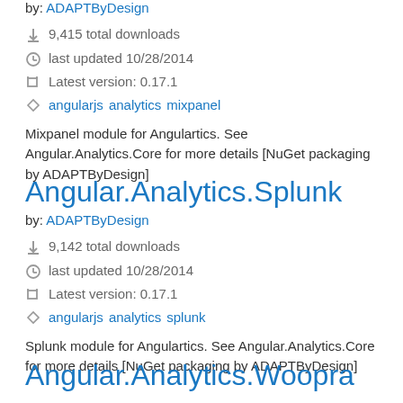by: ADAPTByDesign
9,415 total downloads
last updated 10/28/2014
Latest version: 0.17.1
angularjs analytics mixpanel
Mixpanel module for Angulartics. See Angular.Analytics.Core for more details [NuGet packaging by ADAPTByDesign]
Angular.Analytics.Splunk
by: ADAPTByDesign
9,142 total downloads
last updated 10/28/2014
Latest version: 0.17.1
angularjs analytics splunk
Splunk module for Angulartics. See Angular.Analytics.Core for more details [NuGet packaging by ADAPTByDesign]
Angular.Analytics.Woopra